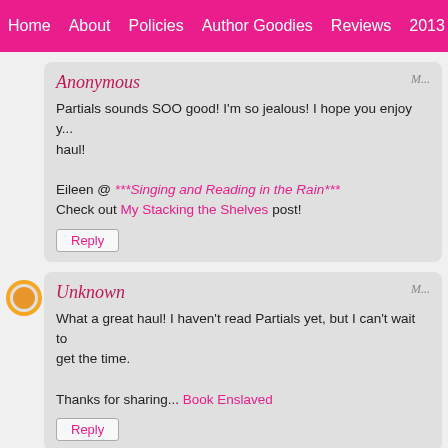Home | About | Policies | Author Goodies | Reviews | 2013 Boo...
Anonymous
Partials sounds SOO good! I'm so jealous! I hope you enjoy your haul!

Eileen @ ***Singing and Reading in the Rain***
Check out My Stacking the Shelves post!
Reply
Unknown
What a great haul! I haven't read Partials yet, but I can't wait to get the time.

Thanks for sharing... Book Enslaved
Reply
To leave a comment, click the button below to sign in with Goo...